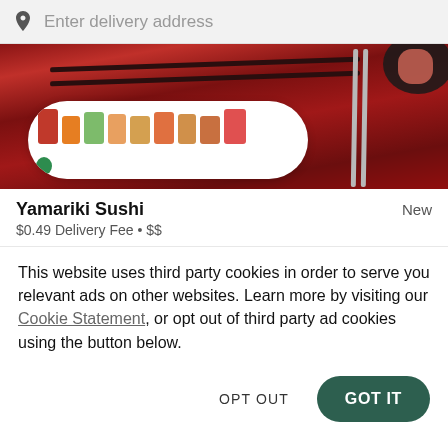Enter delivery address
[Figure (photo): Photo of sushi rolls arranged on a white rectangular plate with chopsticks on a dark red wooden table background]
Yamariki Sushi
New
$0.49 Delivery Fee • $$
This website uses third party cookies in order to serve you relevant ads on other websites. Learn more by visiting our Cookie Statement, or opt out of third party ad cookies using the button below.
OPT OUT
GOT IT